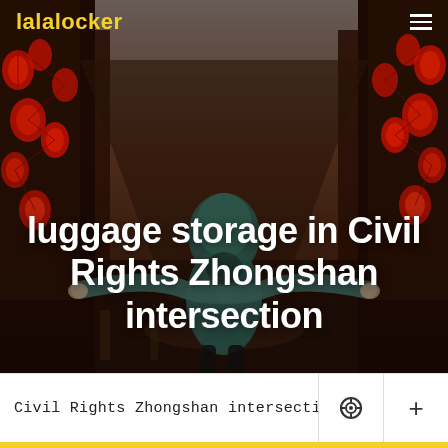[Figure (photo): A person in a teal hoodie standing in a rain-wet Chinese street decorated with red lanterns on both sides, viewed from behind with arms spread open. The scene has a dark, moody reddish-brown color tone.]
lalalocker
luggage storage in Civil Rights Zhongshan intersection
Civil Rights Zhongshan intersection